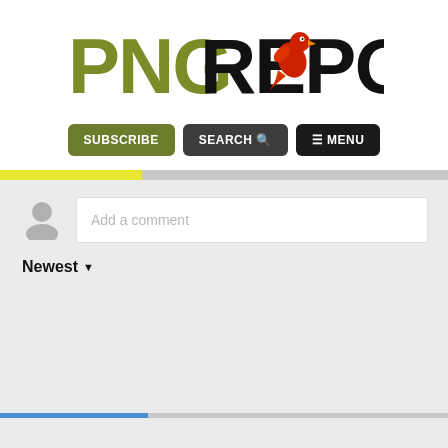[Figure (logo): PNG Report logo with olive/green PNG text, black REPORT text, and a red bird mascot illustration]
[Figure (screenshot): Navigation buttons: SUBSCRIBE (green), SEARCH with magnifier icon (dark gray), MENU with hamburger icon (black)]
[Figure (infographic): Yellow/lime progress bar on gray background]
Add a comment
Newest ▼
[Figure (infographic): Blue partial progress bar on gray background at bottom of page]